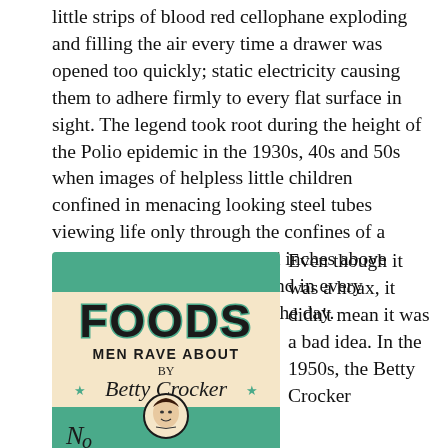little strips of blood red cellophane exploding and filling the air every time a drawer was opened too quickly; static electricity causing them to adhere firmly to every flat surface in sight. The legend took root during the height of the Polio epidemic in the 1930s, 40s and 50s when images of helpless little children confined in menacing looking steel tubes viewing life only through the confines of a tilted rear view mirror placed inches above their chin were routinely found in every newspaper and magazine of the day.
[Figure (illustration): Cover of 'Foods Men Rave About by Betty Crocker' cookbook, cream/beige background with teal and black retro lettering, decorative stars, and a small portrait of Betty Crocker at the bottom.]
Even though it was a hoax, it didn't mean it was a bad idea. In the 1950s, the Betty Crocker